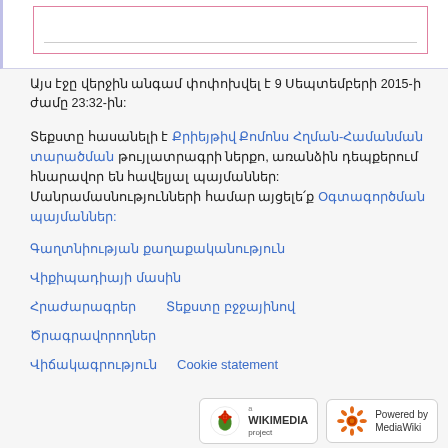[Figure (screenshot): Top portion of a Wikipedia-style page with a bordered input/search box]
Այս էջը վերջին անգամ փոփոխվել է 9 Սեպտեմբերի 2015-ի ժամը 23:32-ին:
Տեքստը հասանելի է Քրիեյթիվ Քոմոնս Հղման-Համանման տարածման թույլատրագրի ներքո, առանձին դեպքերում հնարավոր են հավելյալ պայմաններ: Մանրամասնությունների համար այցելե՛ք Օգտագործման պայմաններ:
Գաղտնիության քաղաքականություն
Վիքիպադիայի մասին
Հրաժարագրեր   Տեքստը բջջայինով
Ծրագրավորողներ
Վիճակագրություն   Cookie statement
[Figure (logo): Wikimedia project badge logo]
[Figure (logo): Powered by MediaWiki badge logo]